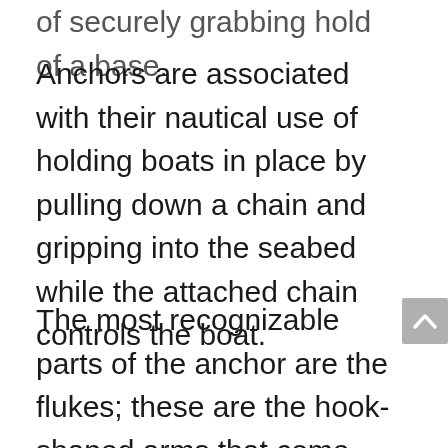of securely grabbing hold of a base.
Anchors are associated with their nautical use of holding boats in place by pulling down a chain and gripping into the seabed while the attached chain controls the boat.
The most recognizable parts of the anchor are the flukes; these are the hook-shaped arms that come out from the base and give the anchor the shape as it is known. The flukes are what physically grab the seabed